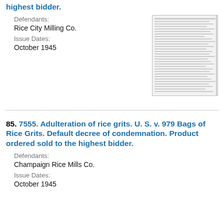highest bidder.
Defendants:
Rice City Milling Co.
Issue Dates:
October 1945
[Figure (screenshot): Thumbnail of a government document page with dense text]
85. 7555. Adulteration of rice grits. U. S. v. 979 Bags of Rice Grits. Default decree of condemnation. Product ordered sold to the highest bidder.
Defendants:
Champaign Rice Mills Co.
Issue Dates:
October 1945
[Figure (screenshot): Thumbnail of a government document page with dense text]